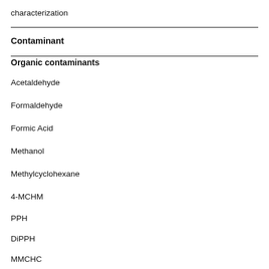characterization
Contaminant
Organic contaminants
Acetaldehyde
Formaldehyde
Formic Acid
Methanol
Methylcyclohexane
4-MCHM
PPH
DiPPH
MMCHC
Metals